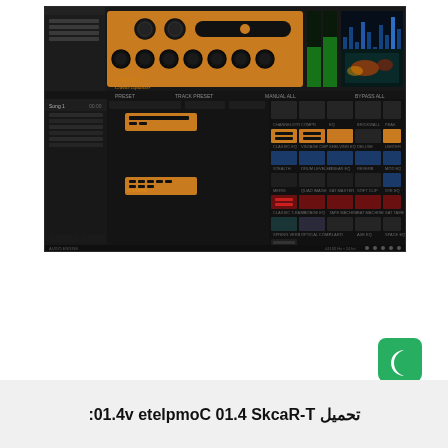[Figure (screenshot): T-RackS 4.10 Complete audio software interface screenshot showing the main rack unit with orange hardware-style compressor/EQ module, spectrum analyzer, module browser grid with various audio processing units in orange, blue, red, and dark color schemes, and a sidebar with track list.]
[Figure (screenshot): Green dark mode toggle button with crescent moon icon]
[Figure (screenshot): Green scroll-to-top button with double chevron/arrows icon]
تحميل T-RackS 4.10 Complete v4.10: